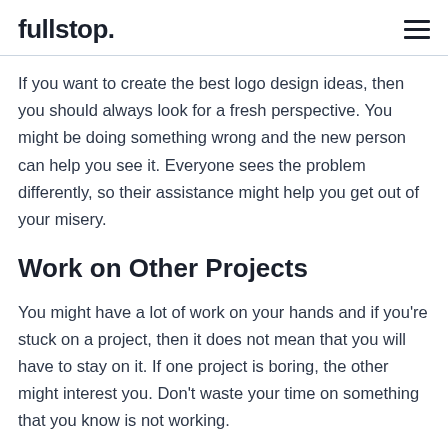fullstop.
If you want to create the best logo design ideas, then you should always look for a fresh perspective. You might be doing something wrong and the new person can help you see it. Everyone sees the problem differently, so their assistance might help you get out of your misery.
Work on Other Projects
You might have a lot of work on your hands and if you're stuck on a project, then it does not mean that you will have to stay on it. If one project is boring, the other might interest you. Don't waste your time on something that you know is not working.